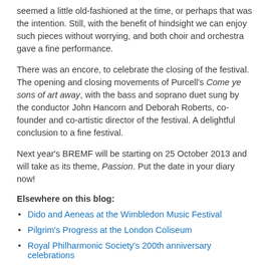seemed a little old-fashioned at the time, or perhaps that was the intention. Still, with the benefit of hindsight we can enjoy such pieces without worrying, and both choir and orchestra gave a fine performance.
There was an encore, to celebrate the closing of the festival. The opening and closing movements of Purcell's Come ye sons of art away, with the bass and soprano duet sung by the conductor John Hancorn and Deborah Roberts, co-founder and co-artistic director of the festival. A delightful conclusion to a fine festival.
Next year's BREMF will be starting on 25 October 2013 and will take as its theme, Passion. Put the date in your diary now!
Elsewhere on this blog:
Dido and Aeneas at the Wimbledon Music Festival
Pilgrim's Progress at the London Coliseum
Royal Philharmonic Society's 200th anniversary celebrations
...